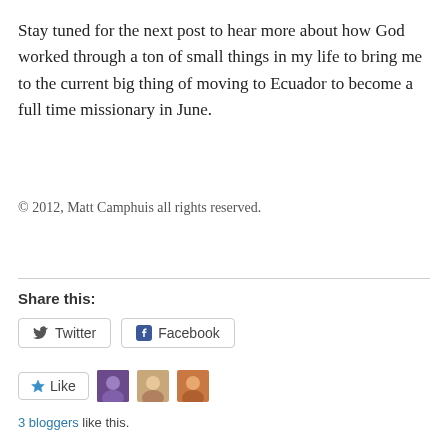Stay tuned for the next post to hear more about how God worked through a ton of small things in my life to bring me to the current big thing of moving to Ecuador to become a full time missionary in June.
© 2012, Matt Camphuis all rights reserved.
Share this:
[Figure (screenshot): Twitter and Facebook share buttons rendered as outlined button widgets]
[Figure (screenshot): Like button with star icon, followed by three small avatar photos of bloggers]
3 bloggers like this.